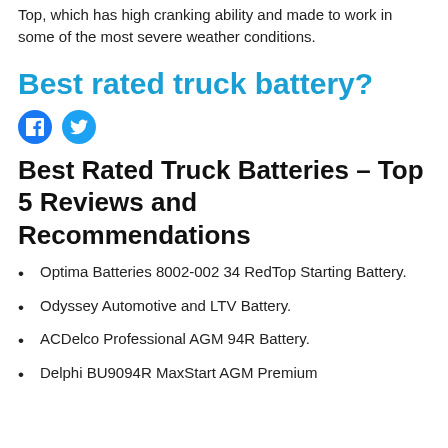Top, which has high cranking ability and made to work in some of the most severe weather conditions.
Best rated truck battery?
[Figure (other): Facebook and Twitter social share icons]
Best Rated Truck Batteries – Top 5 Reviews and Recommendations
Optima Batteries 8002-002 34 RedTop Starting Battery.
Odyssey Automotive and LTV Battery.
ACDelco Professional AGM 94R Battery.
Delphi BU9094R MaxStart AGM Premium